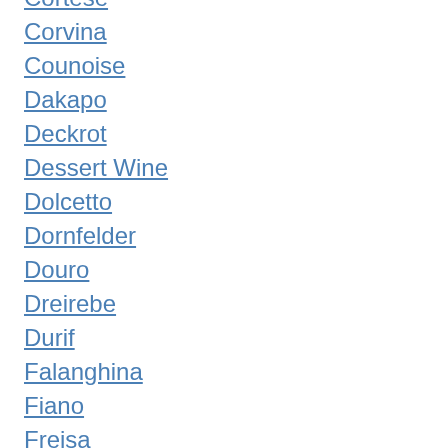Cortese
Corvina
Counoise
Dakapo
Deckrot
Dessert Wine
Dolcetto
Dornfelder
Douro
Dreirebe
Durif
Falanghina
Fiano
Freisa
Friulano
Fumin
Furmint
Gamay Noir
Gewürztraminer